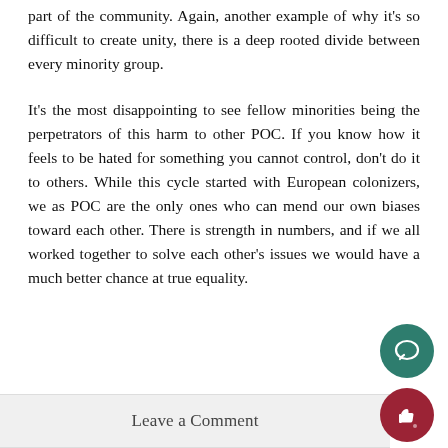part of the community. Again, another example of why it's so difficult to create unity, there is a deep rooted divide between every minority group.
It's the most disappointing to see fellow minorities being the perpetrators of this harm to other POC. If you know how it feels to be hated for something you cannot control, don't do it to others. While this cycle started with European colonizers, we as POC are the only ones who can mend our own biases toward each other. There is strength in numbers, and if we all worked together to solve each other's issues we would have a much better chance at true equality.
Leave a Comment
[Figure (illustration): Green circular chat/comment button icon]
[Figure (illustration): Dark red circular thumbs-up/like button icon]